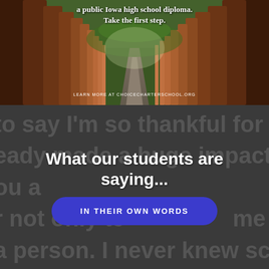[Figure (photo): Forest path with tall trees on both sides leading to a vanishing point, overlaid with text about a public Iowa high school diploma and a URL for choicecharterschool.org]
a public Iowa high school diploma. Take the first step.
LEARN MORE AT CHOICECHARTERSCHOOL.ORG
to say I'm so thankful for all of y... eady made a huge impact on m... ou a... ou a... r not only te... me but carin... a person. I never knew school amazing... to hav... y life. Happy Thanksgiving to a...
What our students are saying...
IN THEIR OWN WORDS